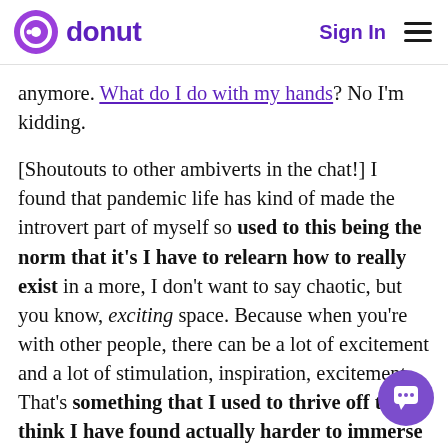donut   Sign In
anymore. What do I do with my hands? No I'm kidding.
[Shoutouts to other ambiverts in the chat!] I found that pandemic life has kind of made the introvert part of myself so used to this being the norm that it's I have to relearn how to really exist in a more, I don't want to say chaotic, but you know, exciting space. Because when you're with other people, there can be a lot of excitement and a lot of stimulation, inspiration, excitement. That's something that I used to thrive off that I think I have found actually harder to immerse myself back into. I see a lot happening in the chat, and don't want to miss it...